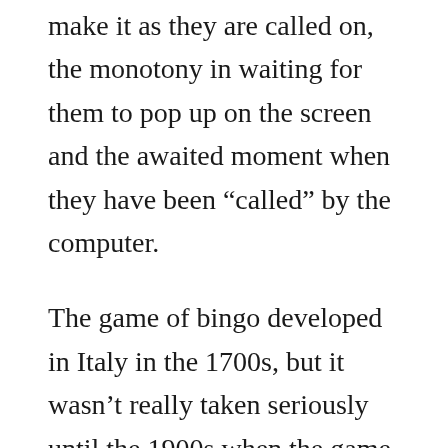make it as they are called on, the monotony in waiting for them to pop up on the screen and the awaited moment when they have been “called” by the computer.
The game of bingo developed in Italy in the 1700s, but it wasn’t really taken seriously until the 1900s when the game really took off. Before then, bingo was a game that was enjoyed by the upper classes and was an expression used to call people to parties and other events. It wasn’t until after the Second